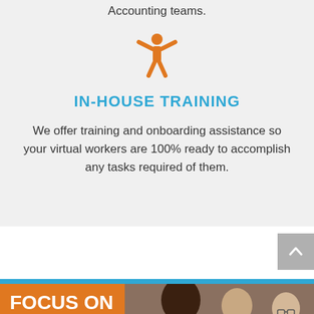Accounting teams.
[Figure (illustration): Orange person icon with arms raised wide]
IN-HOUSE TRAINING
We offer training and onboarding assistance so your virtual workers are 100% ready to accomplish any tasks required of them.
[Figure (photo): Banner with orange background and text FOCUS ON GROWING YOUR, with photo of people]
FOCUS ON GROWING YOUR